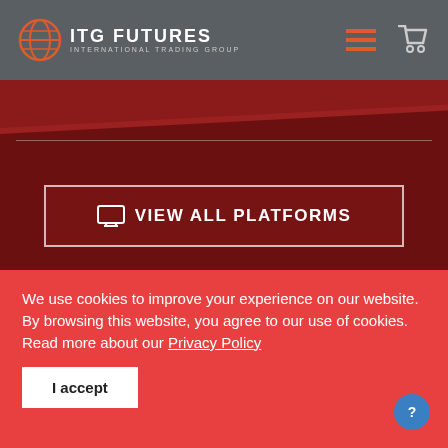[Figure (logo): ITG Futures logo with globe icon and text 'ITG FUTURES INTERNATIONAL TRADING GROUP', hamburger menu icon, and shopping cart icon in a dark grey header bar]
VIEW ALL PLATFORMS
We use cookies to improve your experience on our website. By browsing this website, you agree to our use of cookies. Read more about our Privacy Policy
I accept